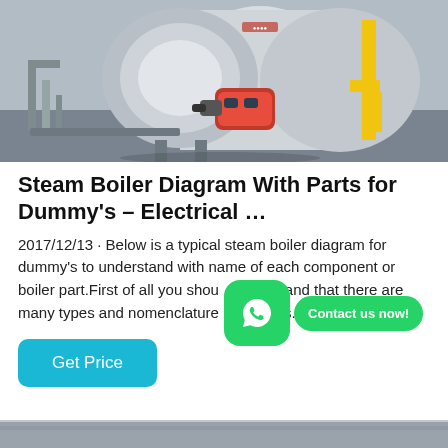[Figure (photo): Photograph of a large industrial steam boiler with a red burner attached to the front, silver cylindrical body, and yellow gas pipes visible on the right side, installed indoors.]
Steam Boiler Diagram With Parts for Dummy's – Electrical …
2017/12/13 · Below is a typical steam boiler diagram for dummy's to understand with name of each component or boiler part.First of all you should understand that there are many types and nomenclatures. For example…
[Figure (other): WhatsApp contact button overlay with green rounded square icon and 'Contact us now!' green pill bubble]
[Figure (photo): Partial image of another boiler or industrial equipment visible at the very bottom of the page (cropped).]